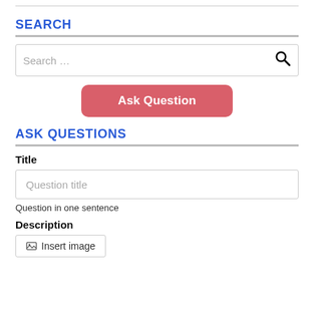SEARCH
[Figure (screenshot): Search input box with placeholder text 'Search …' and a search icon on the right]
[Figure (screenshot): Red rounded button labeled 'Ask Question']
ASK QUESTIONS
Title
[Figure (screenshot): Text input field with placeholder 'Question title']
Question in one sentence
Description
[Figure (screenshot): Button labeled 'Insert image' with image icon]